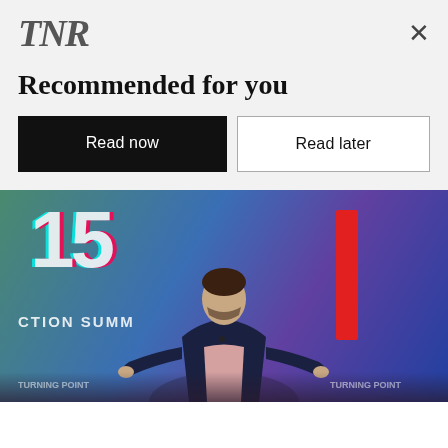[Figure (logo): TNR logo in stylized serif italic letters]
Recommended for you
Read now
Read later
[Figure (photo): A man in a dark blazer and light pink shirt stands on a stage with arms spread wide, in front of a colorful TikTok-branded backdrop with a red vertical banner. Text reads 'CTION SUMM' (Action Summit) in the background.]